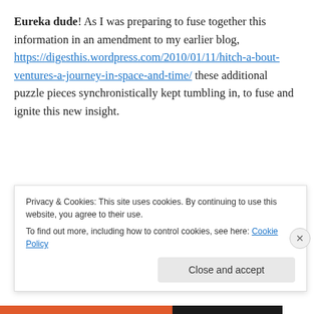Eureka dude! As I was preparing to fuse together this information in an amendment to my earlier blog, https://digesthis.wordpress.com/2010/01/11/hitch-a-bout-ventures-a-journey-in-space-and-time/ these additional puzzle pieces synchronistically kept tumbling in, to fuse and ignite this new insight.
syn·chro·nic·i·ty
/ˌsiNGkrəˈnisədē/
noun
Privacy & Cookies: This site uses cookies. By continuing to use this website, you agree to their use.
To find out more, including how to control cookies, see here: Cookie Policy
Close and accept